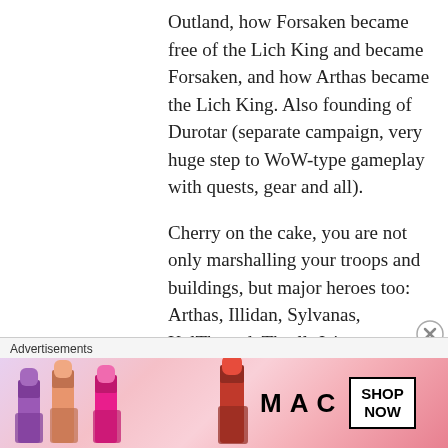Outland, how Forsaken became free of the Lich King and became Forsaken, and how Arthas became the Lich King. Also founding of Durotar (separate campaign, very huge step to WoW-type gameplay with quests, gear and all).
Cherry on the cake, you are not only marshalling your troops and buildings, but major heroes too: Arthas, Illidan, Sylvanas, KelThuzad, Thrall, Jaina, Grommash Hellscream, Tyrande, Malfurion, Maiev, Cairne
Advertisements
[Figure (photo): MAC cosmetics advertisement banner showing colorful lipsticks on the left side, MAC logo text in the center, and a SHOP NOW button on the right side.]